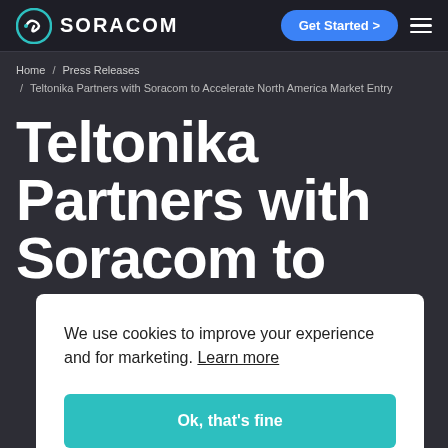SORACOM | Get Started
Home / Press Releases / Teltonika Partners with Soracom to Accelerate North America Market Entry
Teltonika Partners with Soracom to
We use cookies to improve your experience and for marketing. Learn more
Ok, that's fine